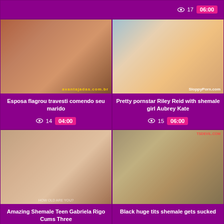[Figure (screenshot): Top strip showing view counts and duration badges for two videos above]
[Figure (photo): Thumbnail for Esposa flagrou travesti comendo seu marido]
Esposa flagrou travesti comendo seu marido
14  04:00
[Figure (photo): Thumbnail for Pretty pornstar Riley Reid with shemale girl Aubrey Kate]
Pretty pornstar Riley Reid with shemale girl Aubrey Kate
15  06:00
[Figure (photo): Thumbnail for Amazing Shemale Teen Gabriela Rigo Cums Three]
Amazing Shemale Teen Gabriela Rigo Cums Three
[Figure (photo): Thumbnail for Black huge tits shemale gets sucked]
Black huge tits shemale gets sucked